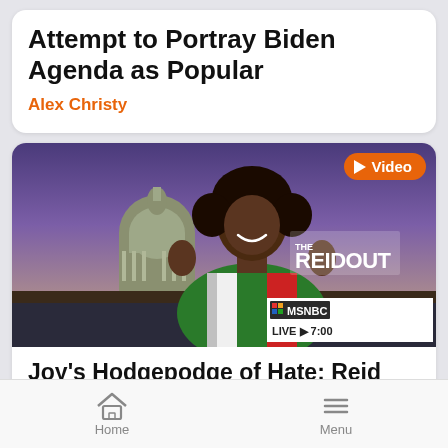Attempt to Portray Biden Agenda as Popular
Alex Christy
[Figure (screenshot): Screenshot of MSNBC The ReidOut segment showing a Black woman host in a red, white, and green sweater with hands raised, smiling, with the US Capitol building visible in the background. MSNBC logo and LIVE 7:00 lower third visible. Video badge in upper right corner.]
Joy's Hodgepodge of Hate: Reid
Home  Menu